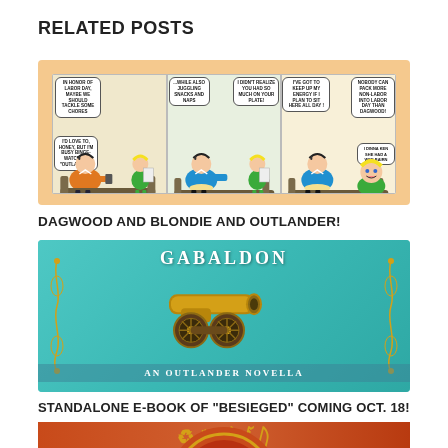RELATED POSTS
[Figure (illustration): Dagwood and Blondie comic strip with three panels. Panel 1: Blondie tells Dagwood they should tackle some chores for Labor Day; Dagwood says he is busy binge-watching Outlander. Panel 2: While also juggling snacks and naps; Blondie says she didn't realize he had so much on his plate. Panel 3: Blondie says he's got to keep up his energy to sit here all day; nobody can pack more non-labor into Labor Day than Dagwood; 'I dinna ken she had a wee bairn' caption.]
DAGWOOD AND BLONDIE AND OUTLANDER!
[Figure (photo): Book cover with teal/turquoise background. Author name GABALDON at top in large letters. Decorative gold ornamental designs on sides. A miniature antique cannon figurine centered. Text at bottom: AN OUTLANDER NOVELLA.]
STANDALONE E-BOOK OF "BESIEGED" COMING OCT. 18!
[Figure (photo): Partial view of another book cover with red/brown circular design and gold Celtic-style lettering, partially cut off at bottom of page.]